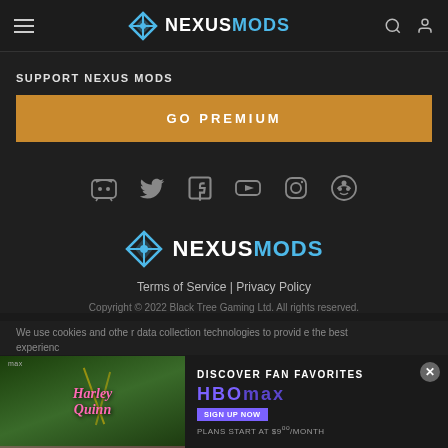Nexus Mods - navigation header
SUPPORT NEXUS MODS
GO PREMIUM
[Figure (illustration): Social media icons row: Discord, Twitter, Facebook, YouTube, Instagram, Reddit]
[Figure (logo): NexusMods logo with crosshair icon, NEXUS in white and MODS in blue]
Terms of Service | Privacy Policy
Copyright © 2022 Black Tree Gaming Ltd. All rights reserved.
We use cookies and other data collection technologies to provide the best experience and content may be shared
[Figure (screenshot): HBO Max advertisement banner with Harley Quinn image, DISCOVER FAN FAVORITES text, SIGN UP NOW button, PLANS START AT $9 per month]